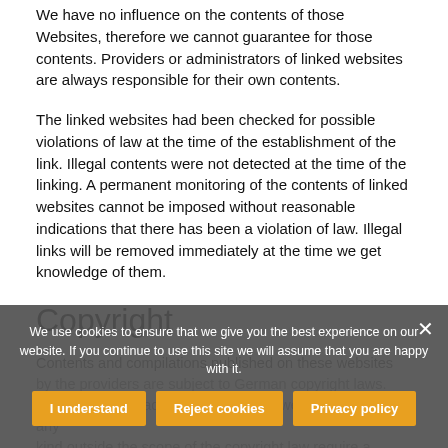We have no influence on the contents of those Websites, therefore we cannot guarantee for those contents. Providers or administrators of linked websites are always responsible for their own contents.
The linked websites had been checked for possible violations of law at the time of the establishment of the link. Illegal contents were not detected at the time of the linking. A permanent monitoring of the contents of linked websites cannot be imposed without reasonable indications that there has been a violation of law. Illegal links will be removed immediately at the time we get knowledge of them.
Copyright
Contents and compilations published on these websites by the providers are subject to German copyright laws. Reproduction, reading, distribution as well as the use of any kind outside the scope of the copyright law require a written permission of the author or originator. Downloads and copies of these websites are permitted for private use only.
We use cookies to ensure that we give you the best experience on our website. If you continue to use this site we will assume that you are happy with it.